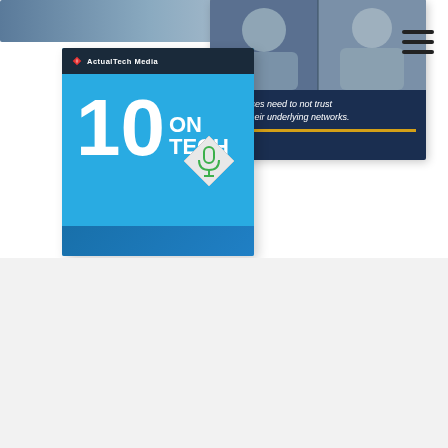[Figure (screenshot): Composite image showing a podcast cover art card for '10 ON TECH' by ActualTech Media in blue, overlapping with a video thumbnail showing two men in a conference call with text 'enterprises need to not trust any of their underlying networks.']
Custom Interview & Q&A Video